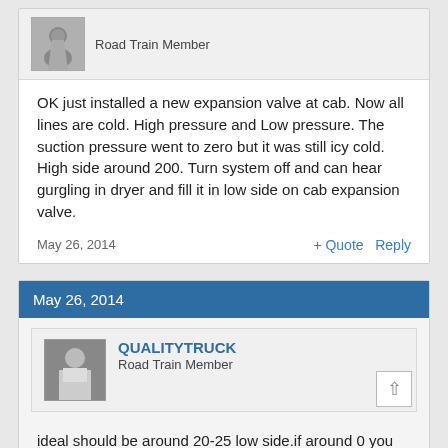[Figure (photo): User avatar - grey silhouette figure]
Road Train Member
OK just installed a new expansion valve at cab. Now all lines are cold. High pressure and Low pressure. The suction pressure went to zero but it was still icy cold. High side around 200. Turn system off and can hear gurgling in dryer and fill it in low side on cab expansion valve.
May 26, 2014
+ Quote  Reply
May 26, 2014
[Figure (photo): User avatar - person in white shirt]
QUALITYTRUCK
Road Train Member
ideal should be around 20-25 low side.if around 0 you have something wrong.i have had many of those codensers plug up.good luck.
May 26, 2014
+ Quote  Reply